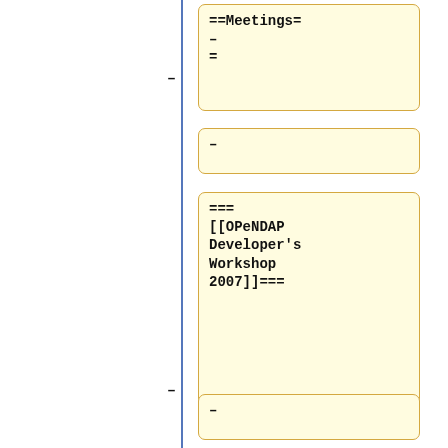==Meetings==
–
–
=== [[OPeNDAP Developer's Workshop 2007]]===
–
=== [[OPeNDAP Workshops at APAC and the Australian BOM, Oct. 2007.]]===